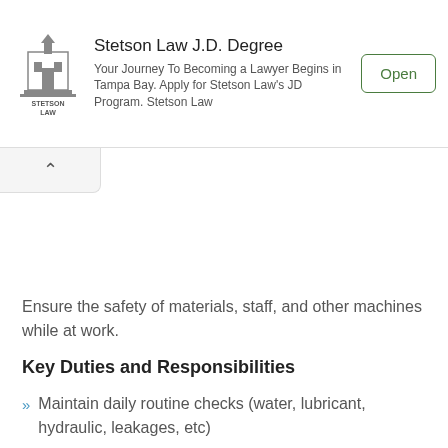[Figure (other): Stetson Law advertisement banner with logo, text, and Open button]
Ensure the safety of materials, staff, and other machines while at work.
Key Duties and Responsibilities
Maintain daily routine checks (water, lubricant, hydraulic, leakages, etc)